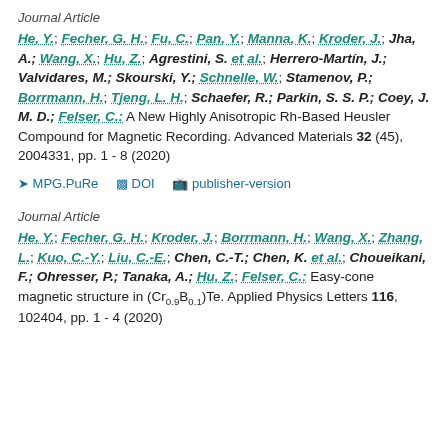Journal Article
He, Y.; Fecher, G. H.; Fu, C.; Pan, Y.; Manna, K.; Kroder, J.; Jha, A.; Wang, X.; Hu, Z.; Agrestini, S. et al.; Herrero-Martín, J.; Valvidares, M.; Skourski, Y.; Schnelle, W.; Stamenov, P.; Borrmann, H.; Tjeng, L. H.; Schaefer, R.; Parkin, S. S. P.; Coey, J. M. D.; Felser, C.: A New Highly Anisotropic Rh-Based Heusler Compound for Magnetic Recording. Advanced Materials 32 (45), 2004331, pp. 1 - 8 (2020)
MPG.PuRe   DOI   publisher-version
Journal Article
He, Y.; Fecher, G. H.; Kroder, J.; Borrmann, H.; Wang, X.; Zhang, L.; Kuo, C.-Y.; Liu, C.-E.; Chen, C.-T.; Chen, K. et al.; Choueikani, F.; Ohresser, P.; Tanaka, A.; Hu, Z.; Felser, C.: Easy-cone magnetic structure in (Cr0.9B0.1)Te. Applied Physics Letters 116, 102404, pp. 1 - 4 (2020)